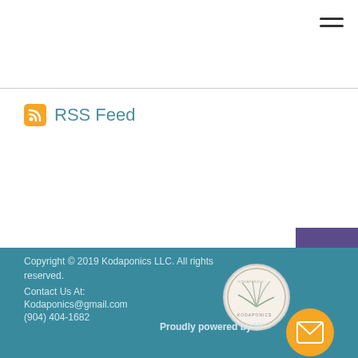RSS Feed
Copyright © 2019 Kodaponics LLC. All rights reserved.
Contact Us At:
Kodaponics@gmail.com
(904) 404-1682
Proudly powered by W...